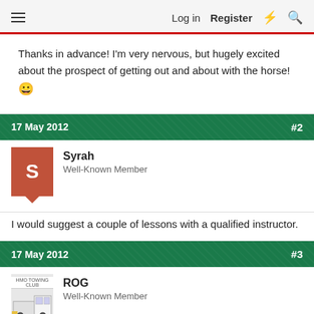Log in  Register
Thanks in advance! I'm very nervous, but hugely excited about the prospect of getting out and about with the horse! 😀
17 May 2012  #2
Syrah
Well-Known Member
I would suggest a couple of lessons with a qualified instructor.
17 May 2012  #3
ROG
Well-Known Member
Get rid of your rear view mirror NOW before you get anywhere near